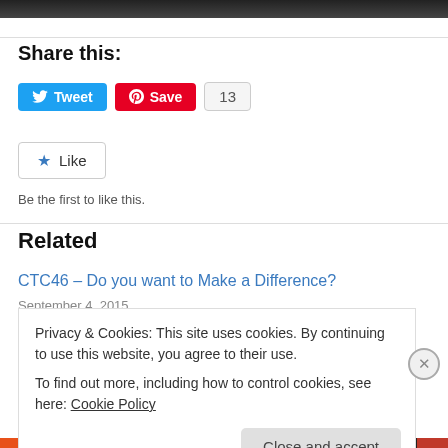[Figure (screenshot): Top dark image strip (partial photo)]
Share this:
[Figure (screenshot): Tweet button (Twitter/X blue button with bird icon)]
[Figure (screenshot): Pinterest Save button (red) with count 13]
[Figure (screenshot): Like button with star icon]
Be the first to like this.
Related
CTC46 – Do you want to Make a Difference?
September 4, 2015
Privacy & Cookies: This site uses cookies. By continuing to use this website, you agree to their use.
To find out more, including how to control cookies, see here: Cookie Policy
Close and accept